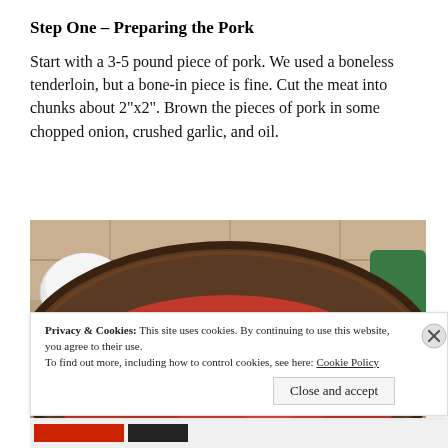Step One – Preparing the Pork
Start with a 3-5 pound piece of pork. We used a boneless tenderloin, but a bone-in piece is fine. Cut the meat into chunks about 2"x2". Brown the pieces of pork in some chopped onion, crushed garlic, and oil.
[Figure (photo): Close-up photo of a dark-colored cooking pan with red tomato sauce, viewed from above. Background shows a stone or tile surface.]
Privacy & Cookies: This site uses cookies. By continuing to use this website, you agree to their use.
To find out more, including how to control cookies, see here: Cookie Policy
Close and accept